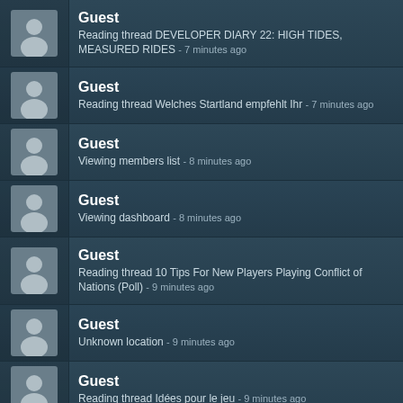Guest
Reading thread DEVELOPER DIARY 22: HIGH TIDES, MEASURED RIDES - 7 minutes ago
Guest
Reading thread Welches Startland empfehlt Ihr - 7 minutes ago
Guest
Viewing members list - 8 minutes ago
Guest
Viewing dashboard - 8 minutes ago
Guest
Reading thread 10 Tips For New Players Playing Conflict of Nations (Poll) - 9 minutes ago
Guest
Unknown location - 9 minutes ago
Guest
Reading thread Idées pour le jeu - 9 minutes ago